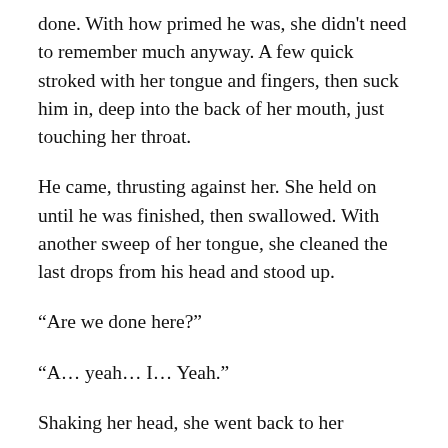done. With how primed he was, she didn't need to remember much anyway. A few quick stroked with her tongue and fingers, then suck him in, deep into the back of her mouth, just touching her throat.
He came, thrusting against her. She held on until he was finished, then swallowed. With another sweep of her tongue, she cleaned the last drops from his head and stood up.
“Are we done here?”
“A… yeah… I… Yeah.”
Shaking her head, she went back to her